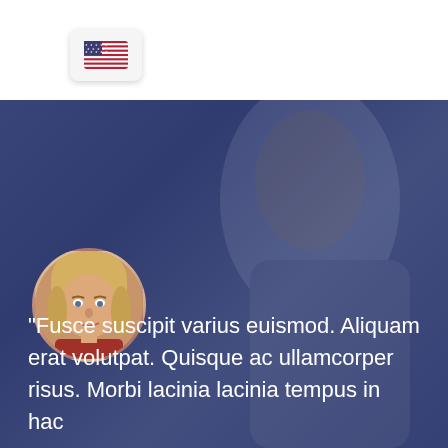[Figure (illustration): US flag button/pill in top white navigation bar]
[Figure (photo): Background photo of a blonde woman in a thoughtful pose, overlaid with a dark blue-purple tint. A circular profile photo of a blonde woman in a red top is positioned in the lower-left area of the image.]
“Fusce suscipit varius euismod. Aliquam erat volutpat. Quisque ac ullamcorper risus. Morbi lacinia lacinia tempus in hac